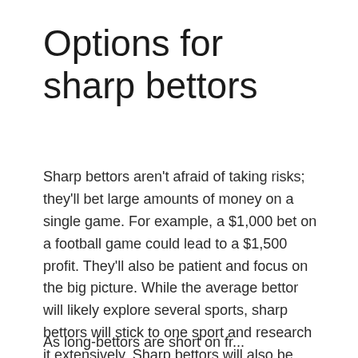Options for sharp bettors
Sharp bettors aren't afraid of taking risks; they'll bet large amounts of money on a single game. For example, a $1,000 bet on a football game could lead to a $1,500 profit. They'll also be patient and focus on the big picture. While the average bettor will likely explore several sports, sharp bettors will stick to one sport and research it extensively. Sharp bettors will also be more knowledgeable about the different props and options.
As long-bettors are short on...